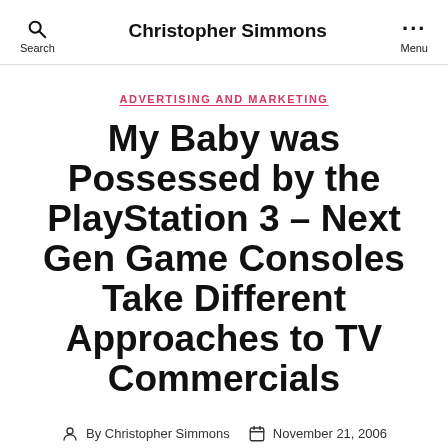Christopher Simmons
ADVERTISING AND MARKETING
My Baby was Possessed by the PlayStation 3 – Next Gen Game Consoles Take Different Approaches to TV Commercials
By Christopher Simmons   November 21, 2006